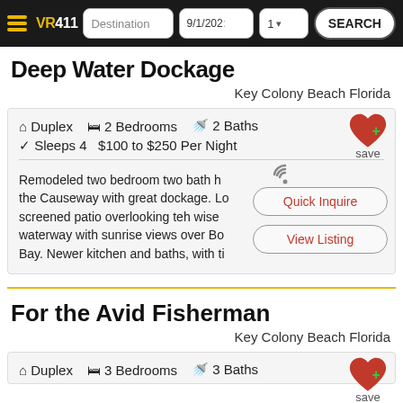VR411 | Destination | 9/1/2022 | 1 | SEARCH
Deep Water Dockage
Key Colony Beach Florida
Duplex   2 Bedrooms   2 Baths   Sleeps 4   $100 to $250 Per Night
Remodeled two bedroom two bath h the Causeway with great dockage. Lo screened patio overlooking teh wise waterway with sunrise views over Bo Bay. Newer kitchen and baths, with ti
Quick Inquire
View Listing
For the Avid Fisherman
Key Colony Beach Florida
Duplex   3 Bedrooms   3 Baths